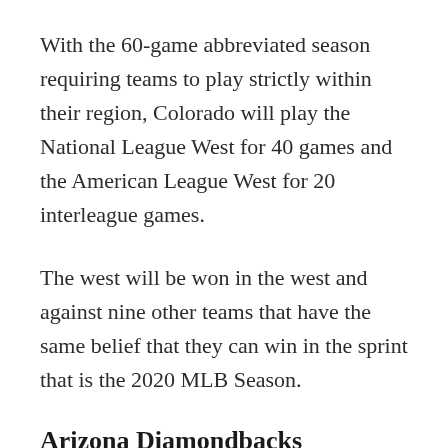With the 60-game abbreviated season requiring teams to play strictly within their region, Colorado will play the National League West for 40 games and the American League West for 20 interleague games.
The west will be won in the west and against nine other teams that have the same belief that they can win in the sprint that is the 2020 MLB Season.
Arizona Diamondbacks